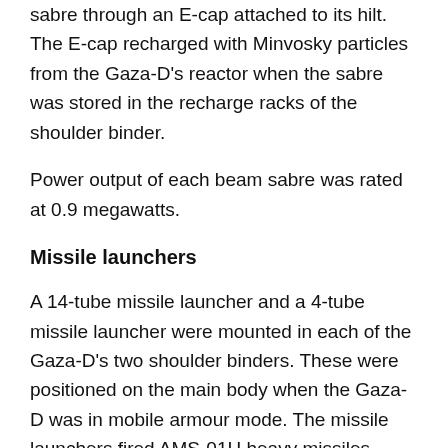minovsky particles were channelled into the sabre through an E-cap attached to its hilt. The E-cap recharged with Minvosky particles from the Gaza-D's reactor when the sabre was stored in the recharge racks of the shoulder binder.
Power output of each beam sabre was rated at 0.9 megawatts.
Missile launchers
A 14-tube missile launcher and a 4-tube missile launcher were mounted in each of the Gaza-D's two shoulder binders. These were positioned on the main body when the Gaza-D was in mobile armour mode. The missile launchers fired AMS-01H heavy missiles.